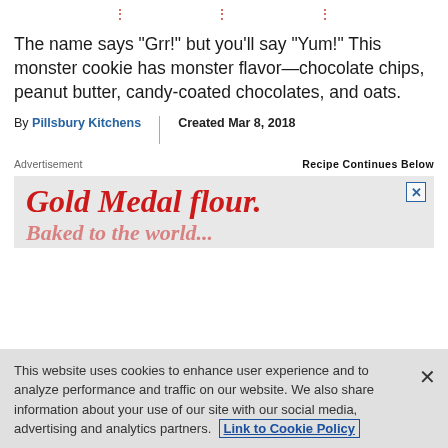⋮  ⋮  ⋮
The name says “Grr!” but you’ll say “Yum!” This monster cookie has monster flavor—chocolate chips, peanut butter, candy-coated chocolates, and oats.
By Pillsbury Kitchens   Created Mar 8, 2018
Advertisement   Recipe Continues Below
[Figure (screenshot): Advertisement banner for Gold Medal flour showing red italic bold text on light grey background with close button]
This website uses cookies to enhance user experience and to analyze performance and traffic on our website. We also share information about your use of our site with our social media, advertising and analytics partners. Link to Cookie Policy